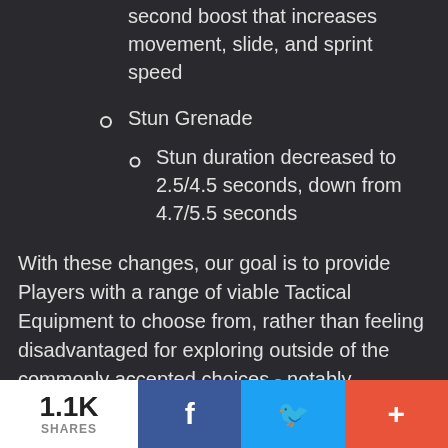will additionally apply a 2-second boost that increases movement, slide, and sprint speed
Stun Grenade
Stun duration decreased to 2.5/4.5 seconds, down from 4.7/5.5 seconds
With these changes, our goal is to provide Players with a range of viable Tactical Equipment to choose from, rather than feeling disadvantaged for exploring outside of the commonly accepted choices - notably
1.1K SHARES  f  Twitter  +